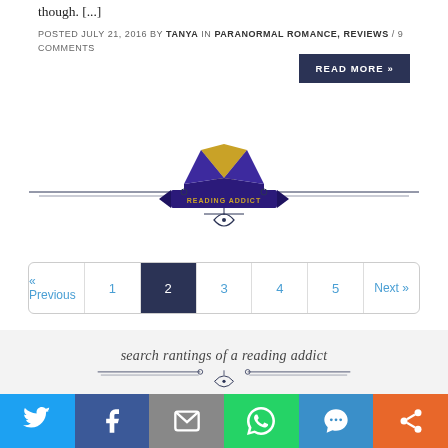though. [...]
POSTED JULY 21, 2016 BY TANYA IN PARANORMAL ROMANCE, REVIEWS / 9 COMMENTS
READ MORE »
[Figure (logo): Reading Addict logo — open book with gold pages, purple cover, blue ribbon banner, decorative divider lines and scroll ornament]
« Previous  1  2  3  4  5  Next »
search rantings of a reading addict
[Figure (infographic): Social sharing bar with Twitter, Facebook, Email, WhatsApp, SMS, and More buttons]